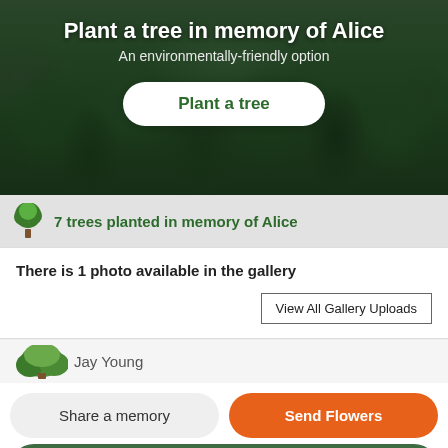[Figure (photo): Forest aerial photo background with dark green pine/fir trees, used as hero banner background]
Plant a tree in memory of Alice
An environmentally-friendly option
Plant a tree
7 trees planted in memory of Alice
There is 1 photo available in the gallery
View All Gallery Uploads
[Figure (illustration): Partial tree icon on left with partially visible name text 'Jay Young' on the right]
Share a memory
Send Flowers
Plant a Tree